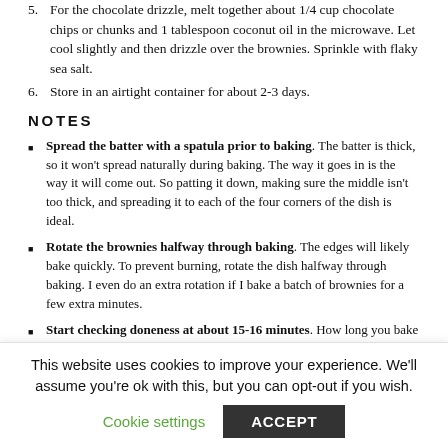5. For the chocolate drizzle, melt together about 1/4 cup chocolate chips or chunks and 1 tablespoon coconut oil in the microwave. Let cool slightly and then drizzle over the brownies. Sprinkle with flaky sea salt.
6. Store in an airtight container for about 2-3 days.
NOTES
Spread the batter with a spatula prior to baking. The batter is thick, so it won't spread naturally during baking. The way it goes in is the way it will come out. So patting it down, making sure the middle isn't too thick, and spreading it to each of the four corners of the dish is ideal.
Rotate the brownies halfway through baking. The edges will likely bake quickly. To prevent burning, rotate the dish halfway through baking. I even do an extra rotation if I bake a batch of brownies for a few extra minutes.
Start checking doneness at about 15-16 minutes. How long you bake these brownies will depend on personal preference. I insert a toothpick every minute or so after the first 15 minutes of baking. However, do not over-bake the brownies. They will continue to set even after you pull them out of the oven. In a 9×9 pan I usually bake about 18-ish minutes.
This website uses cookies to improve your experience. We'll assume you're ok with this, but you can opt-out if you wish.
Cookie settings  ACCEPT